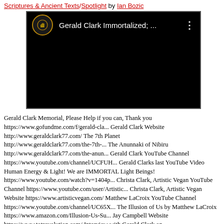Scriptures & Ancient Texts/Spotlight by Ian Bozic
[Figure (screenshot): YouTube video embed showing a dark/black thumbnail with a circular logo on the left and the title 'Gerald Clark Immortalized; ...' in white text, with a three-dot menu icon on the right.]
Gerald Clark Memorial, Please Help if you can, Thank you https://www.gofundme.com/f/gerald-cla... Gerald Clark Website http://www.geraldclark77.com/ The 7th Planet http://www.geraldclark77.com/the-7th-... The Anunnaki of Nibiru http://www.geraldclark77.com/the-anun... Gerald Clark YouTube Channel https://www.youtube.com/channel/UCFUH... Gerald Clarks last YouTube Video Human Energy & Light! We are IMMORTAL Light Beings! https://www.youtube.com/watch?v=1404p... Christa Clark, Artistic Vegan YouTube Channel https://www.youtube.com/user/Artistic... Christa Clark, Artistic Vegan Website https://www.artisticvegan.com/ Matthew LaCroix YouTube Channel https://www.youtube.com/channel/UC65X... The Illusion of Us by Matthew LaCroix https://www.amazon.com/Illusion-Us-Su... Jay Campbell Website https://www.totrevolution.com/ Interview with Gerald Clark on DBThttps://www.youtube.com/watch?]...URMo...